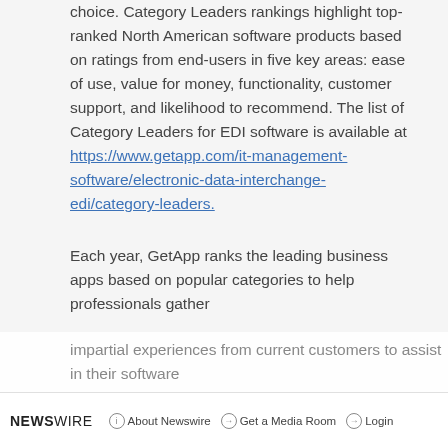choice. Category Leaders rankings highlight top-ranked North American software products based on ratings from end-users in five key areas: ease of use, value for money, functionality, customer support, and likelihood to recommend. The list of Category Leaders for EDI software is available at https://www.getapp.com/it-management-software/electronic-data-interchange-edi/category-leaders.
Each year, GetApp ranks the leading business apps based on popular categories to help professionals gather impartial experiences from current customers to assist in their software
NEWSWIRE   About Newswire   Get a Media Room   Login